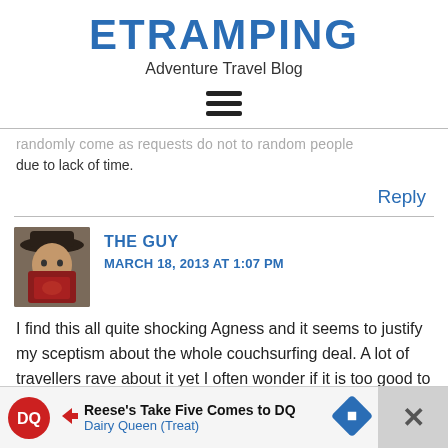ETRAMPING
Adventure Travel Blog
[Figure (infographic): Hamburger/menu icon with three horizontal bars]
randomly come as requests do not to random people due to lack of time.
Reply
THE GUY
MARCH 18, 2013 AT 1:07 PM
[Figure (photo): Avatar photo of a person wearing a hat, holding a passport in front of their face]
I find this all quite shocking Agness and it seems to justify my sceptism about the whole couchsurfing deal. A lot of travellers rave about it yet I often wonder if it is too good to be true.
[Figure (infographic): Advertisement banner: Reese's Take Five Comes to DQ - Dairy Queen (Treat) with DQ logo and arrow icon, with close (X) button on right]